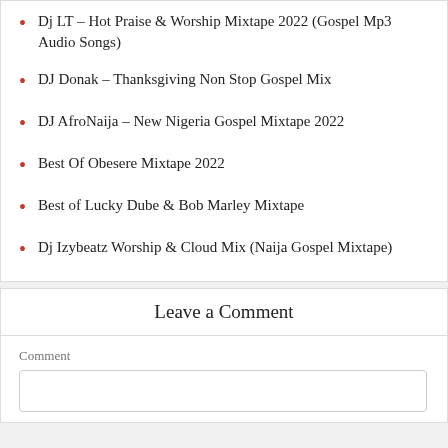Dj LT – Hot Praise & Worship Mixtape 2022 (Gospel Mp3 Audio Songs)
DJ Donak – Thanksgiving Non Stop Gospel Mix
DJ AfroNaija – New Nigeria Gospel Mixtape 2022
Best Of Obesere Mixtape 2022
Best of Lucky Dube & Bob Marley Mixtape
Dj Izybeatz Worship & Cloud Mix (Naija Gospel Mixtape)
Leave a Comment
Comment